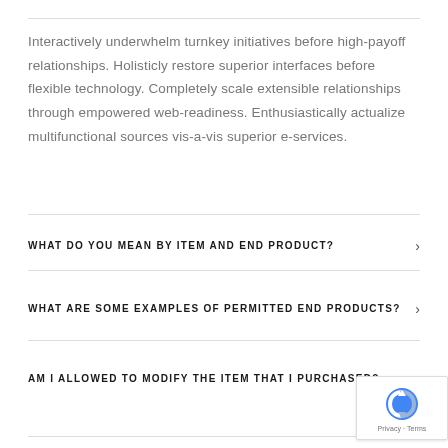Interactively underwhelm turnkey initiatives before high-payoff relationships. Holisticly restore superior interfaces before flexible technology. Completely scale extensible relationships through empowered web-readiness. Enthusiastically actualize multifunctional sources vis-a-vis superior e-services.
WHAT DO YOU MEAN BY ITEM AND END PRODUCT?
WHAT ARE SOME EXAMPLES OF PERMITTED END PRODUCTS?
AM I ALLOWED TO MODIFY THE ITEM THAT I PURCHASED?
[Figure (logo): reCAPTCHA badge with blue/grey spinning arrow logo and Privacy - Terms text]